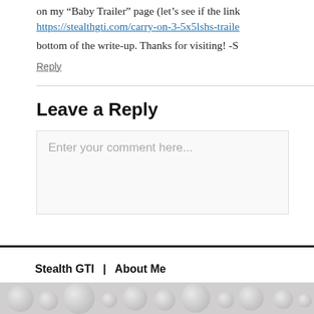on my “Baby Trailer” page (let’s see if the link
https://stealthgti.com/carry-on-3-5x5lshs-trailer
bottom of the write-up. Thanks for visiting! -S
Reply
Leave a Reply
Enter your comment here...
Stealth GTI  |  About Me